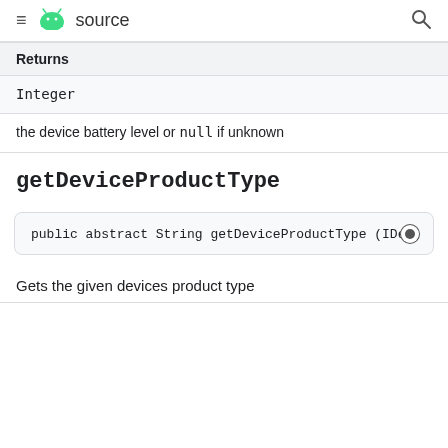≡ source
| Returns |
| --- |
| Integer |
the device battery level or null if unknown
getDeviceProductType
public abstract String getDeviceProductType (IDev
Gets the given devices product type